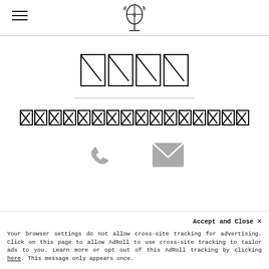[logo and hamburger menu]
[REDACTED - 4 character title]
[REDACTED - subtitle text approx 16 characters]
[Figure (infographic): Phone icon and email/envelope icon side by side]
[Figure (infographic): Redacted bottom section with partially visible boxes]
Accept and Close ×
Your browser settings do not allow cross-site tracking for advertising. Click on this page to allow AdRoll to use cross-site tracking to tailor ads to you. Learn more or opt out of this AdRoll tracking by clicking here. This message only appears once.